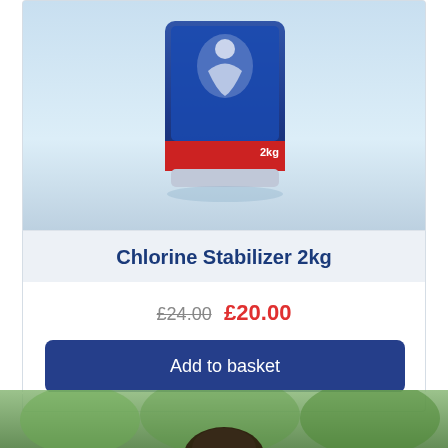[Figure (photo): Product image of Chlorine Stabilizer 2kg container, blue and red packaging with figure swimming graphic, shown on light blue gradient background]
Chlorine Stabilizer 2kg
£24.00 £20.00
Add to basket
[Figure (photo): Bottom portion of page showing outdoor scene with people/children, blurred background with green trees and playground equipment]